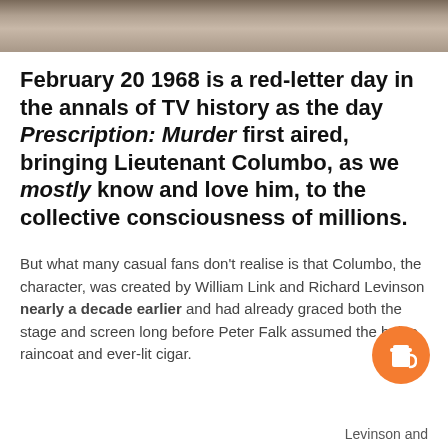[Figure (photo): Partial photo of a person, cropped at top of page]
February 20 1968 is a red-letter day in the annals of TV history as the day Prescription: Murder first aired, bringing Lieutenant Columbo, as we mostly know and love him, to the collective consciousness of millions.
But what many casual fans don't realise is that Columbo, the character, was created by William Link and Richard Levinson nearly a decade earlier and had already graced both the stage and screen long before Peter Falk assumed the beige raincoat and ever-lit cigar.
Levinson and